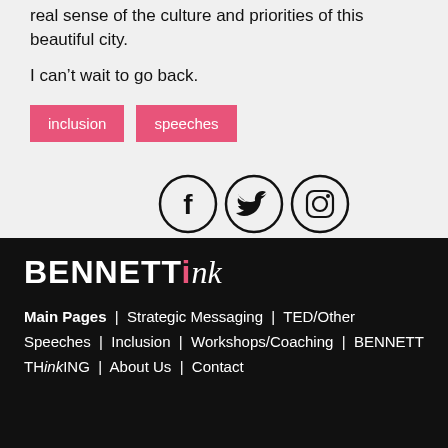real sense of the culture and priorities of this beautiful city.
I can't wait to go back.
inclusion
speeches
[Figure (illustration): Three social media icons in circles: Facebook, Twitter, Instagram]
[Figure (logo): BENNETT ink logo in white on black background]
Main Pages | Strategic Messaging | TED/Other Speeches | Inclusion | Workshops/Coaching | BENNETT THinkING | About Us | Contact